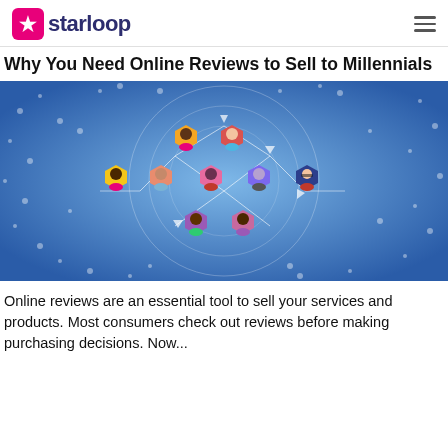starloop
Why You Need Online Reviews to Sell to Millennials
[Figure (illustration): Infographic showing interconnected cartoon avatar faces in colorful hexagonal icons arranged in a network pattern over a blue digital/circuit background with binary-like dots and circles.]
Online reviews are an essential tool to sell your services and products. Most consumers check out reviews before making purchasing decisions. Now...